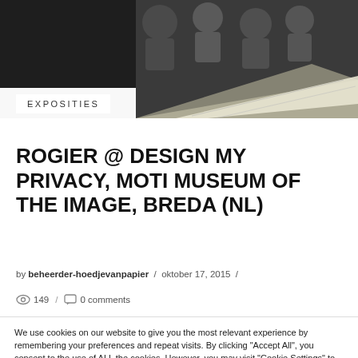[Figure (photo): People gathered around a large table looking at a map or document, dark indoor setting]
EXPOSITIES
ROGIER @ DESIGN MY PRIVACY, MOTI MUSEUM OF THE IMAGE, BREDA (NL)
by beheerder-hoedjevanpapier / oktober 17, 2015 /
149 / 0 comments
We use cookies on our website to give you the most relevant experience by remembering your preferences and repeat visits. By clicking "Accept All", you consent to the use of ALL the cookies. However, you may visit "Cookie Settings" to provide a controlled consent.
Cookie Settings
Accept All